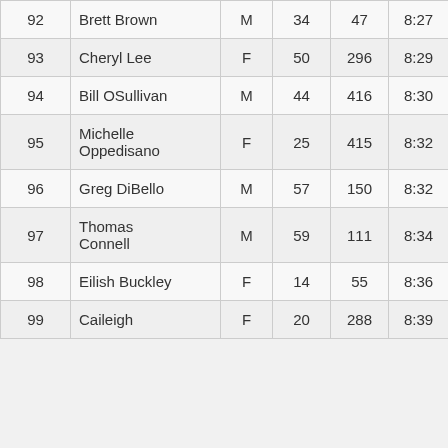| 92 | Brett Brown | M | 34 | 47 | 8:27 |
| 93 | Cheryl Lee | F | 50 | 296 | 8:29 |
| 94 | Bill OSullivan | M | 44 | 416 | 8:30 |
| 95 | Michelle Oppedisano | F | 25 | 415 | 8:32 |
| 96 | Greg DiBello | M | 57 | 150 | 8:32 |
| 97 | Thomas Connell | M | 59 | 111 | 8:34 |
| 98 | Eilish Buckley | F | 14 | 55 | 8:36 |
| 99 | Caileigh | F | 20 | 288 | 8:39 |